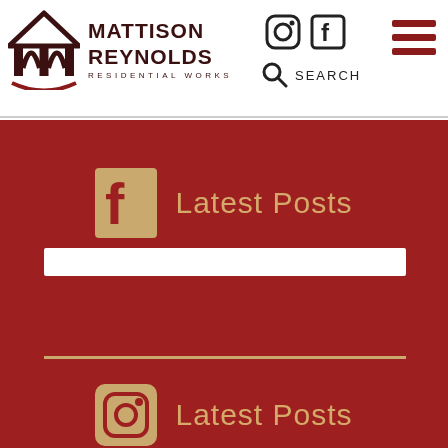[Figure (logo): Mattison Reynolds Residential Works logo with house/arch icon and brand name]
[Figure (infographic): Navigation header with Instagram icon, Facebook icon, search icon with SEARCH text, and hamburger menu]
[Figure (infographic): Red background section with Facebook 'f' icon and 'Latest Posts' label, a white bar, a gold divider line, and an Instagram icon with 'Latest Posts' label]